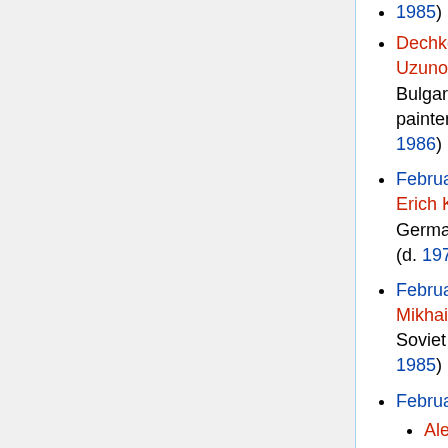1985)
Dechko Uzunov, Bulgarian painter (d. 1986)
February 23 – Erich Kästner, German writer (d. 1974)
February 24 – Mikhail Gromov, Soviet aviator (d. 1985)
February 26
Alec Campbell, Australian WWI soldier, last